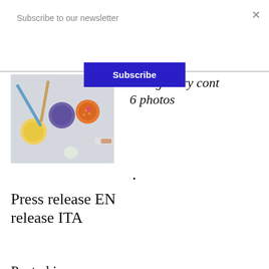Subscribe to our newsletter
Subscribe
[Figure (photo): A photograph showing colorful decorative light bulbs with beaded or textured coverings (yellow, purple, orange) and pencils/paint brushes on a light grey surface.]
This gallery cont... 6 photos
.
Press release EN release ITA
Posted in